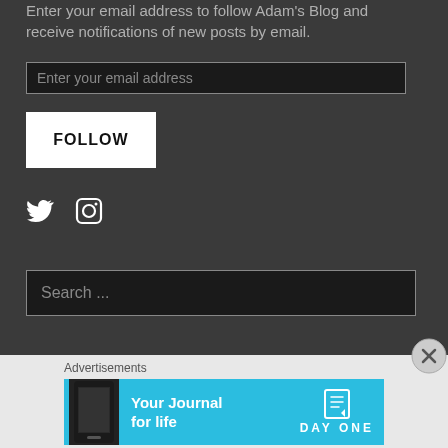Enter your email address to follow Adam's Blog and receive notifications of new posts by email.
[Figure (screenshot): Email input field with placeholder text 'Enter your email address' on dark background]
[Figure (screenshot): White FOLLOW button]
[Figure (screenshot): Twitter and Instagram social media icons in white on dark background]
[Figure (screenshot): Search input box with placeholder text 'Search ...' on dark background]
[Figure (screenshot): Close/X button circle at bottom right of dark section]
Advertisements
[Figure (screenshot): Day One app advertisement banner: 'Your Journal for life' with phone image on light blue background with DAY ONE logo]